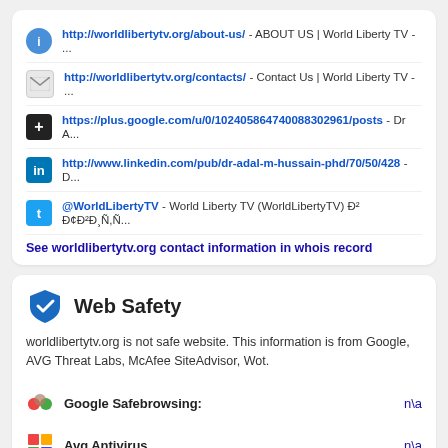http://worldlibertytv.org/about-us/ - ABOUT US | World Liberty TV - ...
http://worldlibertytv.org/contacts/ - Contact Us | World Liberty TV - ...
https://plus.google.com/u/0/102405864740088302961/posts - Dr A...
http://www.linkedin.com/pub/dr-adal-m-hussain-phd/70/50/428 - D...
@WorldLibertyTV - World Liberty TV (WorldLibertyTV) Ð² Ð¢Ð²Ð¸Ñ,Ñ...
See worldlibertytv.org contact information in whois record
Web Safety
worldlibertytv.org is not safe website. This information is from Google, AVG Threat Labs, McAfee SiteAdvisor, Wot.
Google Safebrowsing: n\a
Avg Antivirus n\a
Wot Raiting n\a
SiteAdvisor n\a